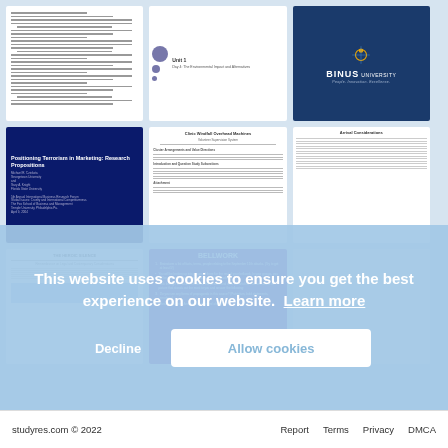[Figure (screenshot): Grid of 8 document/slide thumbnails on a light blue background showing various academic documents and presentations]
This website uses cookies to ensure you get the best experience on our website. Learn more
Decline
Allow cookies
studyres.com © 2022    Report    Terms    Privacy    DMCA